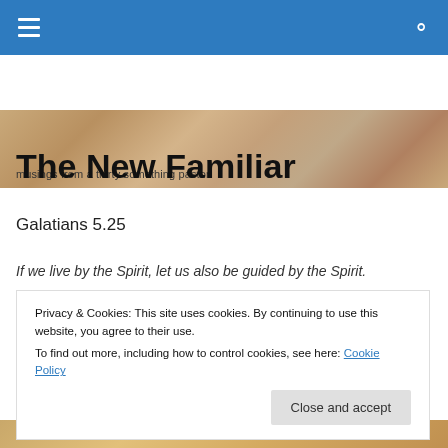[Figure (photo): Header banner image with stone/marble texture in warm tan and brown tones, containing a tagline text]
musings from a thirty something pastor
The New Familiar
Galatians 5.25
If we live by the Spirit, let us also be guided by the Spirit.
Privacy & Cookies: This site uses cookies. By continuing to use this website, you agree to their use.
To find out more, including how to control cookies, see here: Cookie Policy
Close and accept
[Figure (photo): Bottom partial image in warm golden/tan tones]